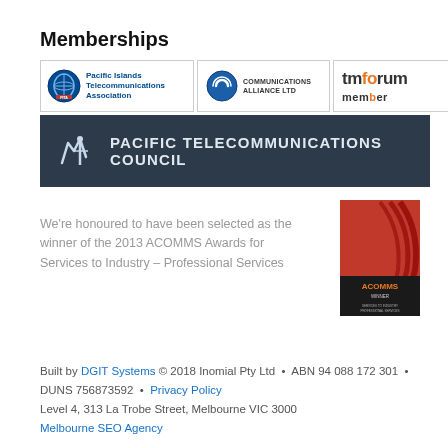Memberships
[Figure (logo): Row of membership logos: PITA (Pacific Islands Telecommunications Association), Communications Alliance Ltd, TM Forum Member]
[Figure (logo): Pacific Telecommunications Council logo on dark navy background]
We're honoured to have been selected as the winner of the 2013 ACOMMS Awards for Services to Industry – Professional Services
[Figure (photo): ACOMMS award badge – red and black winner trophy image]
Built by DGIT Systems © 2018 Inomial Pty Ltd • ABN 94 088 172 301 • DUNS 756873592 • Privacy Policy Level 4, 313 La Trobe Street, Melbourne VIC 3000 Melbourne SEO Agency